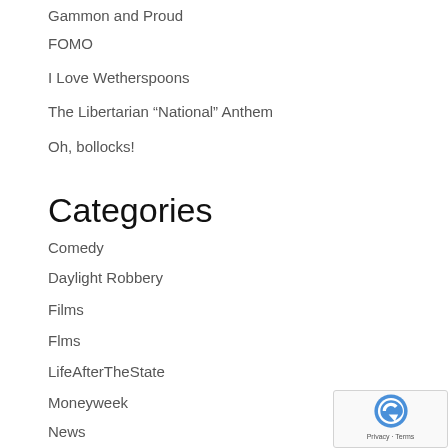Gammon and Proud
FOMO
I Love Wetherspoons
The Libertarian “National” Anthem
Oh, bollocks!
Categories
Comedy
Daylight Robbery
Films
Flms
LifeAfterTheState
Moneyweek
News